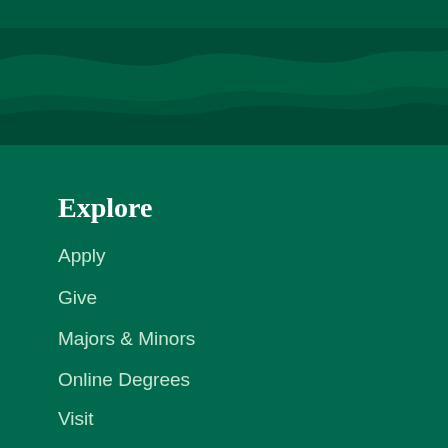[Figure (illustration): Dark green decorative wave/topographic pattern banner at the top of the page]
Explore
Apply
Give
Majors & Minors
Online Degrees
Visit
Campus Map & Parking
Resources